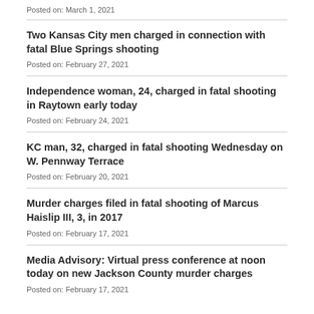Posted on: March 1, 2021
Two Kansas City men charged in connection with fatal Blue Springs shooting
Posted on: February 27, 2021
Independence woman, 24, charged in fatal shooting in Raytown early today
Posted on: February 24, 2021
KC man, 32, charged in fatal shooting Wednesday on W. Pennway Terrace
Posted on: February 20, 2021
Murder charges filed in fatal shooting of Marcus Haislip III, 3, in 2017
Posted on: February 17, 2021
Media Advisory: Virtual press conference at noon today on new Jackson County murder charges
Posted on: February 17, 2021